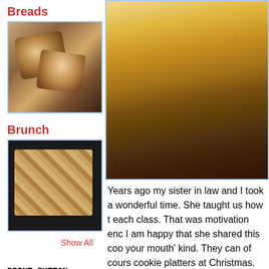Breads
[Figure (photo): Photo of sliced bread loaves]
Brunch
[Figure (photo): Photo of brunch pastries in a pan]
Show All
PRINT BUTTON
To print a recipe click on the Title. You will find the Print button at the bottom of
[Figure (photo): Large close-up photo of a bread loaf in a pan]
Years ago my sister in law and I took a wonderful time. She taught us how to each class. That was motivation eno I am happy that she shared this coo your mouth' kind. They can of cours cookie platters at Christmas.
1 cup lard
1 cup sugar
1 egg
1 teaspoon almond extract
2 1/2 cups flour
1/4 tsp baking soda
Whole almonds